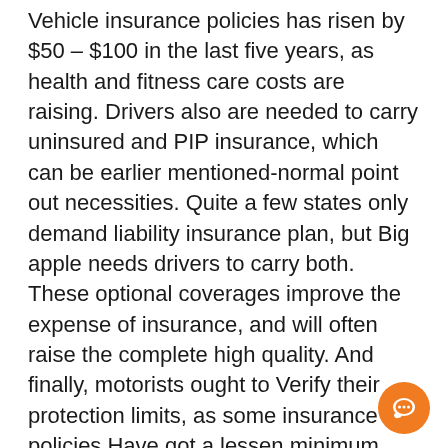Vehicle insurance policies has risen by $50 – $100 in the last five years, as health and fitness care costs are raising. Drivers also are needed to carry uninsured and PIP insurance, which can be earlier mentioned-normal point out necessities. Quite a few states only demand liability insurance plan, but Big apple needs drivers to carry both. These optional coverages improve the expense of insurance, and will often raise the complete high quality. And finally, motorists ought to Verify their protection limits, as some insurance policies Have got a lessen minimum degree of coverage than Some others.
In Big apple, the normal man or woman spends 2.eight percent in their earnings on auto coverage, that's somewhat greater compared to the national ordinary of two.forty per cent. Men and women within their 30s, 40s, and 50s pays a bit a lot less than the typical. The 70+ age group will pay larger rates than drivers with significantly less driving expertise. Those people who are married pays a little bit increased rates, but nonetheless reduce than single...